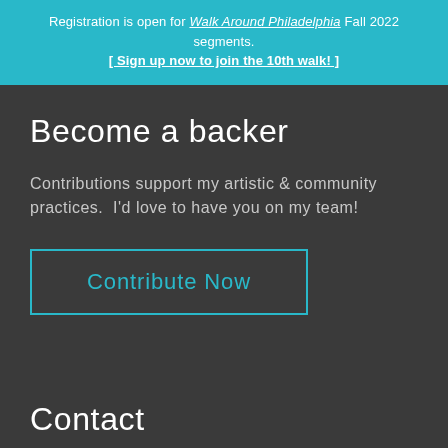Registration is open for Walk Around Philadelphia Fall 2022 segments. [ Sign up now to join the 10th walk! ]
Become a backer
Contributions support my artistic & community practices.  I'd love to have you on my team!
Contribute Now
Contact
Get in touch if I can be of service.